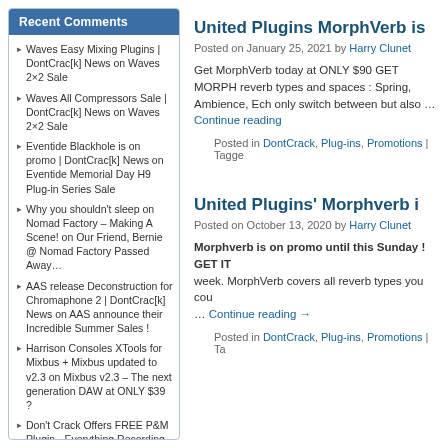Recent Comments
Waves Easy Mixing Plugins | DontCrac[k] News on Waves 2×2 Sale
Waves All Compressors Sale | DontCrac[k] News on Waves 2×2 Sale
Eventide Blackhole is on promo | DontCrac[k] News on Eventide Memorial Day H9 Plug-in Series Sale
Why you shouldn't sleep on Nomad Factory – Making A Scene! on Our Friend, Bernie @ Nomad Factory Passed Away…
AAS release Deconstruction for Chromaphone 2 | DontCrac[k] News on AAS announce their Incredible Summer Sales !
Harrison Consoles XTools for Mixbus + Mixbus updated to v2.3 on Mixbus v2.3 – The next generation DAW at ONLY $39 ?
Don't Crack Offers FREE P&M Plugin - Everything Recording on Get a FREE P&M Plug-in !
AAS Strum GS-2 on Promo to celebrate the release of Blue Rhythms sound library | DontCrac[k] News on AAS announce Blue Rhythms for Strum GS-2
United Plugins MorphVerb is
Posted on January 25, 2021 by Harry Clunet
Get MorphVerb today at ONLY $90 GET MORPH reverb types and spaces : Spring, Ambience, Ech only switch between but also … Continue reading
Posted in DontCrack, Plug-ins, Promotions | Tagged
United Plugins' Morphverb i
Posted on October 13, 2020 by Harry Clunet
Morphverb is on promo until this Sunday ! GET IT week. MorphVerb covers all reverb types you cou … Continue reading →
Posted in DontCrack, Plug-ins, Promotions | Ta